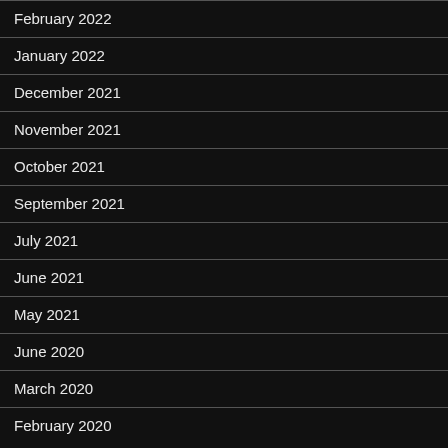February 2022
January 2022
December 2021
November 2021
October 2021
September 2021
July 2021
June 2021
May 2021
June 2020
March 2020
February 2020